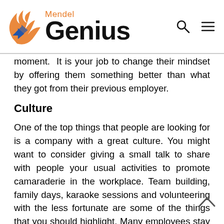Mendel Genius
moment. It is your job to change their mindset by offering them something better than what they got from their previous employer.
Culture
One of the top things that people are looking for is a company with a great culture. You might want to consider giving a small talk to share with people your usual activities to promote camaraderie in the workplace. Team building, family days, karaoke sessions and volunteering with the less fortunate are some of the things that you should highlight. Many employees stay with a company because they feel important and needed.
Perks
Aside from offering a generous salary package, what are the